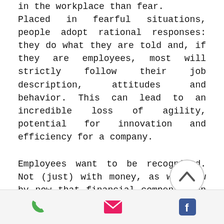in the workplace than fear. Placed in fearful situations, people adopt rational responses: they do what they are told and, if they are employees, most will strictly follow their job description, attitudes and behavior. This can lead to an incredible loss of agility, potential for innovation and efficiency for a company.
Employees want to be recognized. Not (just) with money, as we know by now that financial compensation does not create lasting or intrinsic motiv... Employees should be viewed not only as professionals but also as human beings: as a father, mother, hiker, trav...
[Figure (other): Scroll-up circular button with chevron/caret icon, overlaid on the bottom-right area of the text]
Phone | Email | Facebook icons navigation bar